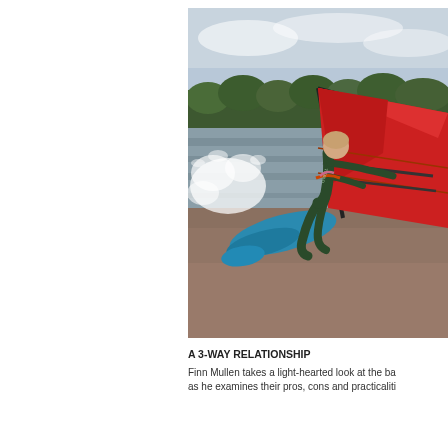[Figure (photo): A windsurfer in a dark green wetsuit (O'Neill brand) riding a blue board with a red sail on choppy brown water, leaning into the wind with water spraying. Trees visible in the background under an overcast sky.]
A 3-WAY RELATIONSHIP
Finn Mullen takes a light-hearted look at the ba... as he examines their pros, cons and practicaliti...